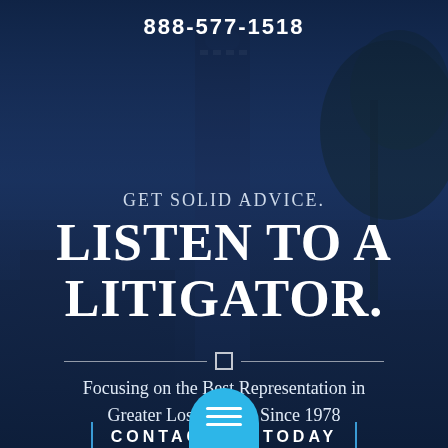888-577-1518
[Figure (photo): Dark blue overlay of Los Angeles city skyline with skyscrapers and palm trees at dusk/night.]
GET SOLID ADVICE.
LISTEN TO A LITIGATOR.
Focusing on the Best Representation in Greater Los Angeles Since 1978
CONTACT US TODAY